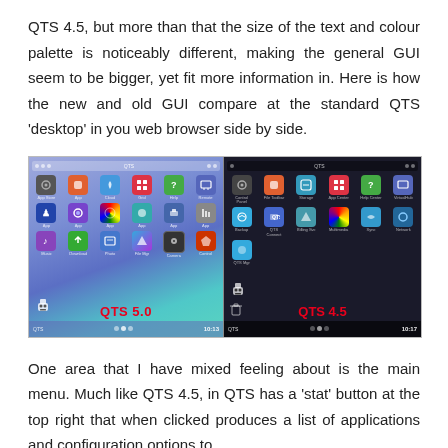QTS 4.5, but more than that the size of the text and colour palette is noticeably different, making the general GUI seem to be bigger, yet fit more information in. Here is how the new and old GUI compare at the standard QTS 'desktop' in you web browser side by side.
[Figure (screenshot): Side-by-side comparison screenshot of QTS 5.0 (left, blue/teal theme with colorful app icons) and QTS 4.5 (right, dark theme with app icons), labeled with red bold text 'QTS 5.0' and 'QTS 4.5' respectively.]
One area that I have mixed feeling about is the main menu. Much like QTS 4.5, in QTS has a 'stat' button at the top right that when clicked produces a list of applications and configuration options to